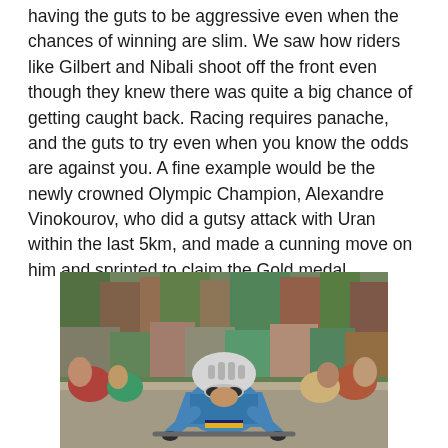having the guts to be aggressive even when the chances of winning are slim. We saw how riders like Gilbert and Nibali shoot off the front even though they knew there was quite a big chance of getting caught back. Racing requires panache, and the guts to try even when you know the odds are against you. A fine example would be the newly crowned Olympic Champion, Alexandre Vinokourov, who did a gutsy attack with Uran within the last 5km, and made a cunning move on him and sprinted to claim the Gold medal.
[Figure (photo): A cyclist in a blue jersey and white helmet riding through a crowd of spectators lining the road, photographed during what appears to be an Olympic road cycling race.]